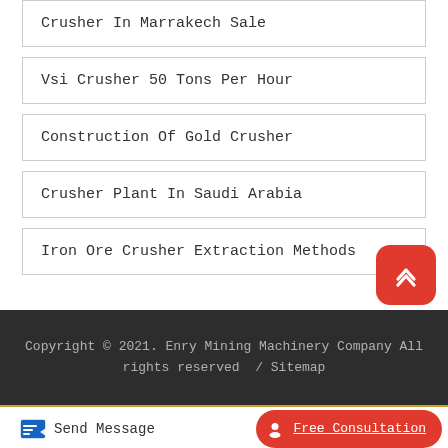Crusher In Marrakech Sale
Vsi Crusher 50 Tons Per Hour
Construction Of Gold Crusher
Crusher Plant In Saudi Arabia
Iron Ore Crusher Extraction Methods
Copyright © 2021. Enry Mining Machinery Company All rights reserved  /  Sitemap
Send Message   Free Consultation